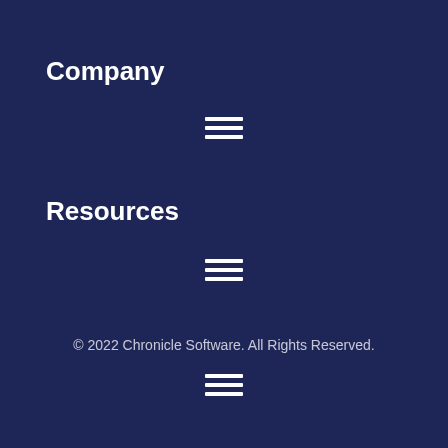Company
[Figure (other): Hamburger menu icon (three horizontal lines)]
Resources
[Figure (other): Hamburger menu icon (three horizontal lines)]
© 2022 Chronicle Software. All Rights Reserved.
[Figure (other): Hamburger menu icon (three horizontal lines)]